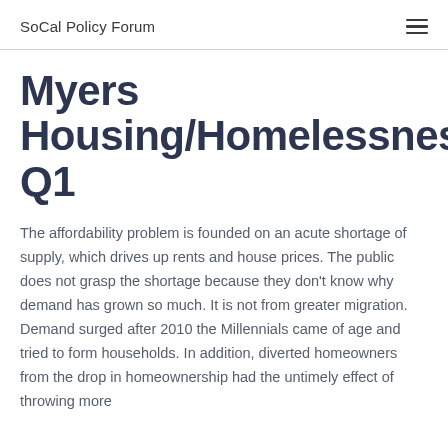SoCal Policy Forum
Myers Housing/Homelessness Q1
The affordability problem is founded on an acute shortage of supply, which drives up rents and house prices. The public does not grasp the shortage because they don't know why demand has grown so much. It is not from greater migration. Demand surged after 2010 the Millennials came of age and tried to form households. In addition, diverted homeowners from the drop in homeownership had the untimely effect of throwing more